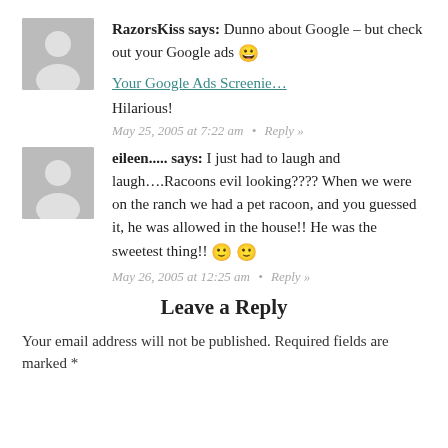RazorsKiss says: Dunno about Google – but check out your Google ads 😀

Your Google Ads Screenie…

Hilarious!

May 25, 2005 at 7:22 am • Reply »
eileen..... says: I just had to laugh and laugh….Racoons evil looking???? When we were on the ranch we had a pet racoon, and you guessed it, he was allowed in the house!! He was the sweetest thing!! 🙂 🙂

May 26, 2005 at 12:25 am • Reply »
Leave a Reply
Your email address will not be published. Required fields are marked *